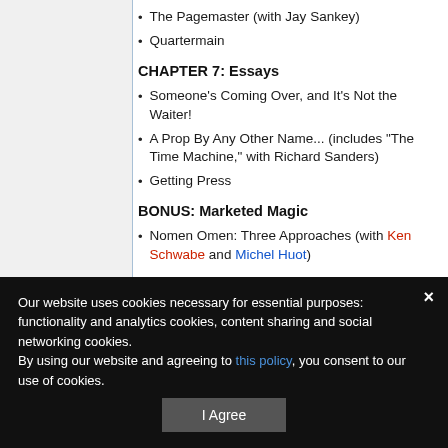The Pagemaster (with Jay Sankey)
Quartermain
CHAPTER 7: Essays
Someone's Coming Over, and It's Not the Waiter!
A Prop By Any Other Name... (includes "The Time Machine," with Richard Sanders)
Getting Press
BONUS: Marketed Magic
Nomen Omen: Three Approaches (with Ken Schwabe and Michel Huot)
Our website uses cookies necessary for essential purposes: functionality and analytics cookies, content sharing and social networking cookies. By using our website and agreeing to this policy, you consent to our use of cookies.